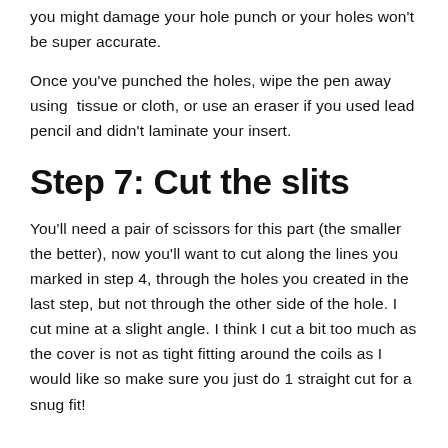you might damage your hole punch or your holes won't be super accurate.
Once you've punched the holes, wipe the pen away using tissue or cloth, or use an eraser if you used lead pencil and didn't laminate your insert.
Step 7: Cut the slits
You'll need a pair of scissors for this part (the smaller the better), now you'll want to cut along the lines you marked in step 4, through the holes you created in the last step, but not through the other side of the hole. I cut mine at a slight angle. I think I cut a bit too much as the cover is not as tight fitting around the coils as I would like so make sure you just do 1 straight cut for a snug fit!